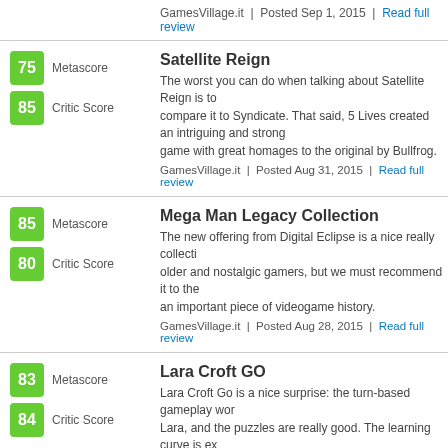GamesVillage.it | Posted Sep 1, 2015 | Read full review
Satellite Reign
The worst you can do when talking about Satellite Reign is to compare it to Syndicate. That said, 5 Lives created an intriguing and strong game with great homages to the original by Bullfrog.
GamesVillage.it | Posted Aug 31, 2015 | Read full review
Mega Man Legacy Collection
The new offering from Digital Eclipse is a nice really collection for older and nostalgic gamers, but we must recommend it to the an important piece of videogame history.
GamesVillage.it | Posted Aug 28, 2015 | Read full review
Lara Croft GO
Lara Croft Go is a nice surprise: the turn-based gameplay works well for Lara, and the puzzles are really good. The learning curve is ex in-app purchases are not annoying, which is definitely a plus.
GamesVillage.it | Posted Aug 28, 2015 | Read full review
Lost Dimension
Lost Dimension is a visual novel disguised as a tactical RPG. unfortunately troubled by very low production values. Keep i better than the PS3 one.